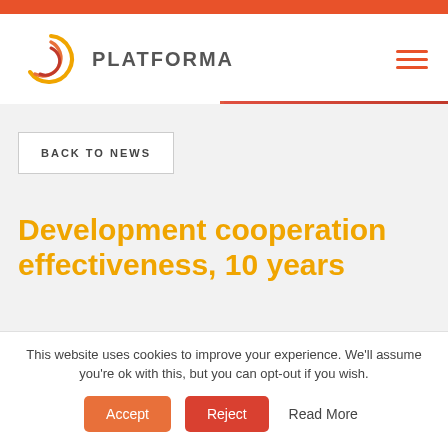PLATFORMA
BACK TO NEWS
Development cooperation effectiveness, 10 years
This website uses cookies to improve your experience. We'll assume you're ok with this, but you can opt-out if you wish.
Accept   Reject   Read More